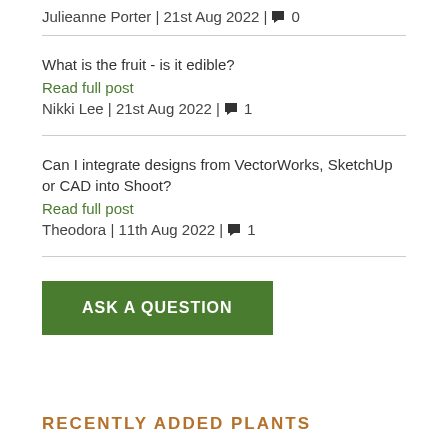Julieanne Porter | 21st Aug 2022 | 💬 0
What is the fruit - is it edible?
Read full post
Nikki Lee | 21st Aug 2022 | 💬 1
Can I integrate designs from VectorWorks, SketchUp or CAD into Shoot?
Read full post
Theodora | 11th Aug 2022 | 💬 1
ASK A QUESTION
RECENTLY ADDED PLANTS